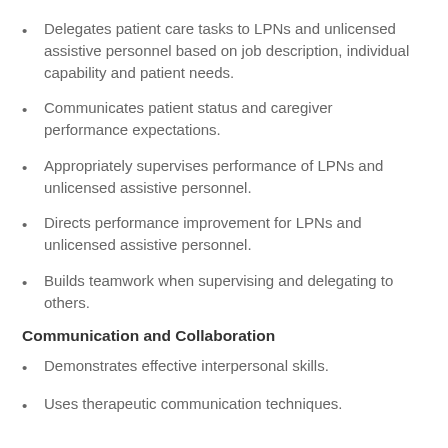Delegates patient care tasks to LPNs and unlicensed assistive personnel based on job description, individual capability and patient needs.
Communicates patient status and caregiver performance expectations.
Appropriately supervises performance of LPNs and unlicensed assistive personnel.
Directs performance improvement for LPNs and unlicensed assistive personnel.
Builds teamwork when supervising and delegating to others.
Communication and Collaboration
Demonstrates effective interpersonal skills.
Uses therapeutic communication techniques.